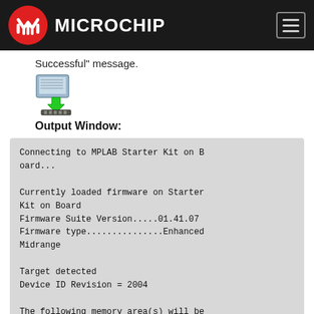[Figure (logo): Microchip Technology logo with red circular icon and white text 'MICROCHIP' on black header bar]
Successful" message.
[Figure (illustration): Icon showing a computer monitor with a green download arrow pointing down onto a chip/PCB]
Output Window:
Connecting to MPLAB Starter Kit on Board...

Currently loaded firmware on Starter Kit on Board
Firmware Suite Version.....01.41.07
Firmware type...............Enhanced Midrange

Target detected
Device ID Revision = 2004

The following memory area(s) will be programmed: